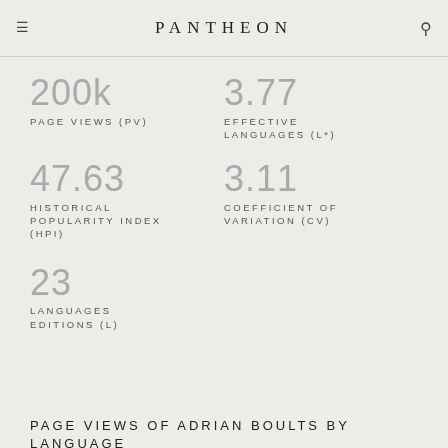PANTHEON
200k
PAGE VIEWS (PV)
3.77
EFFECTIVE LANGUAGES (L*)
47.63
HISTORICAL POPULARITY INDEX (HPI)
3.11
COEFFICIENT OF VARIATION (CV)
23
LANGUAGES EDITIONS (L)
PAGE VIEWS OF ADRIAN BOULTS BY LANGUAGE
Over the past year Adrian Boult has had the most page...